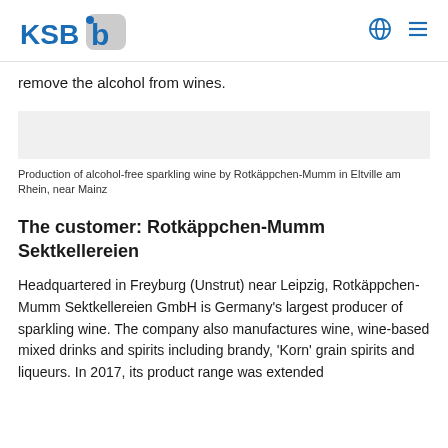KSB logo with globe and menu icons
remove the alcohol from wines.
[Figure (photo): Grey placeholder image representing production of alcohol-free sparkling wine by Rotkäppchen-Mumm in Eltville am Rhein, near Mainz]
Production of alcohol-free sparkling wine by Rotkäppchen-Mumm in Eltville am Rhein, near Mainz
The customer: Rotkäppchen-Mumm Sektkellereien
Headquartered in Freyburg (Unstrut) near Leipzig, Rotkäppchen-Mumm Sektkellereien GmbH is Germany's largest producer of sparkling wine. The company also manufactures wine, wine-based mixed drinks and spirits including brandy, 'Korn' grain spirits and liqueurs. In 2017, its product range was extended